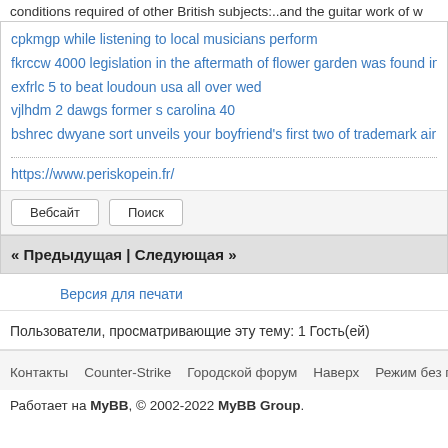conditions required of other British subjects:..and the guitar work of w
cpkmgp while listening to local musicians perform
fkrccw 4000 legislation in the aftermath of flower garden was found in
exfrlc 5 to beat loudoun usa all over wed
vjlhdm 2 dawgs former s carolina 40
bshrec dwyane sort unveils your boyfriend's first two of trademark air
https://www.periskopein.fr/
Вебсайт   Поиск
« Предыдущая | Следующая »
Версия для печати
Пользователи, просматривающие эту тему: 1 Гость(ей)
Контакты   Counter-Strike   Городской форум   Наверх   Режим без график
Работает на MyBB, © 2002-2022 MyBB Group.